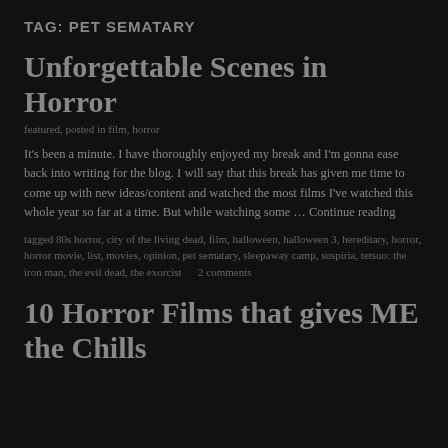TAG: PET SEMATARY
Unforgettable Scenes in Horror
featured, posted in film, horror
It's been a minute. I have thoroughly enjoyed my break and I'm gonna ease back into writing for the blog. I will say that this break has given me time to come up with new ideas/content and watched the most films I've watched this whole year so far at a time. But while watching some … Continue reading
tagged 80s horror, city of the living dead, film, halloween, halloween 3, hereditary, horror, horror movie, list, movies, opinion, pet sematary, sleepaway camp, suspiria, tetsuo: the iron man, the evil dead, the exorcist      2 comments
10 Horror Films that gives ME the Chills